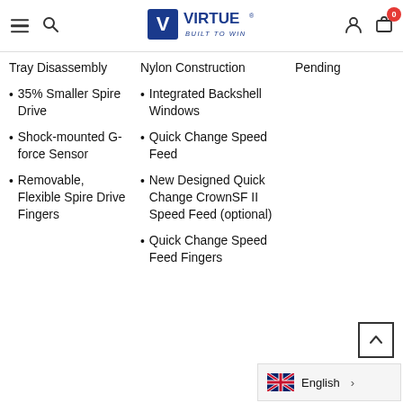Virtue - Built to Win (navigation header with logo, menu, search, user, cart icons)
Tray Disassembly
35% Smaller Spire Drive
Shock-mounted G-force Sensor
Removable, Flexible Spire Drive Fingers
Nylon Construction
Integrated Backshell Windows
Quick Change Speed Feed
New Designed Quick Change CrownSF II Speed Feed (optional)
Quick Change Speed Feed Fingers
Pending